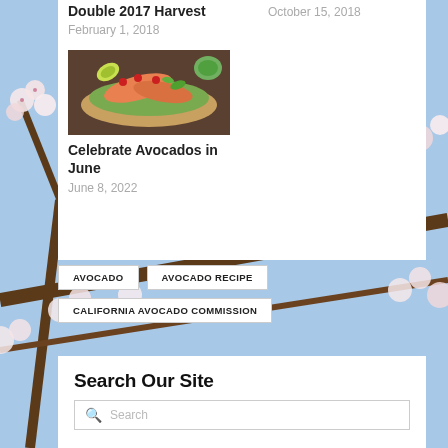Double 2017 Harvest
February 1, 2018
October 15, 2018
[Figure (photo): Food photo: salmon and avocado toast with red berries and lime, green sauce in background]
Celebrate Avocados in June
June 8, 2022
[Figure (photo): Background photo of cherry blossoms in bloom against blue sky with tree branches]
AVOCADO
AVOCADO RECIPE
CALIFORNIA AVOCADO COMMISSION
Search Our Site